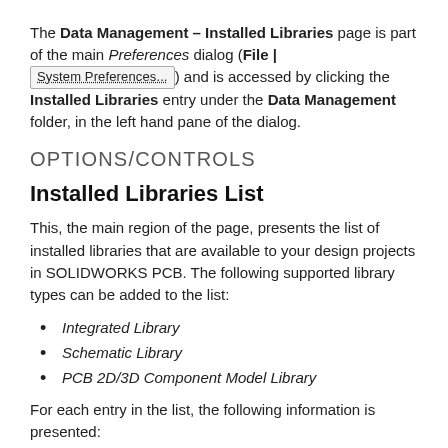The Data Management – Installed Libraries page is part of the main Preferences dialog (File | System Preferences...) and is accessed by clicking the Installed Libraries entry under the Data Management folder, in the left hand pane of the dialog.
OPTIONS/CONTROLS
Installed Libraries List
This, the main region of the page, presents the list of installed libraries that are available to your design projects in SOLIDWORKS PCB. The following supported library types can be added to the list:
Integrated Library
Schematic Library
PCB 2D/3D Component Model Library
For each entry in the list, the following information is presented: